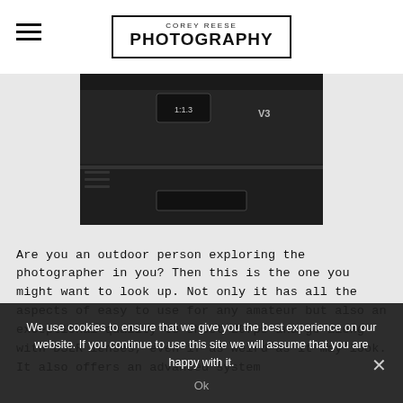COREY REESE PHOTOGRAPHY
[Figure (photo): Bottom portion of a black camera body (labeled V3) on a light gray background]
Are you an outdoor person exploring the photographer in you? Then this is the one you might want to look up. Not only it has all the aspects of easy to use for any amateur but also an exceptional quality to shoot 20fps and go along with DSLR lenses, even if as weird as it may look. It also offers an advanced system
We use cookies to ensure that we give you the best experience on our website. If you continue to use this site we will assume that you are happy with it.
Ok